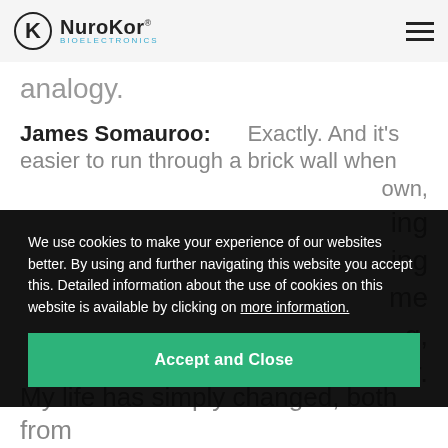NuroKor Bioelectronics
analogy.
James Somauroo:        Exactly. And it's easier to run through a brick wall when
We use cookies to make your experience of our websites better. By using and further navigating this website you accept this. Detailed information about the use of cookies on this website is available by clicking on more information.
Accept and Close
My life has simply changed, both from